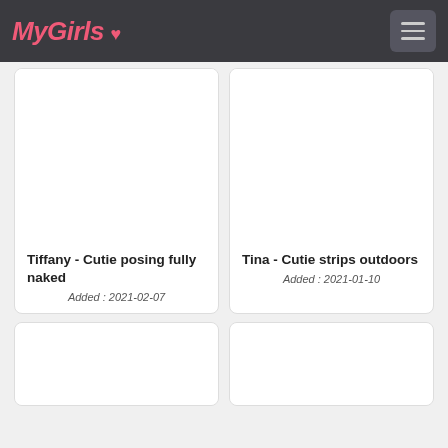MyGirls
Tiffany - Cutie posing fully naked
Added : 2021-02-07
Tina - Cutie strips outdoors
Added : 2021-01-10